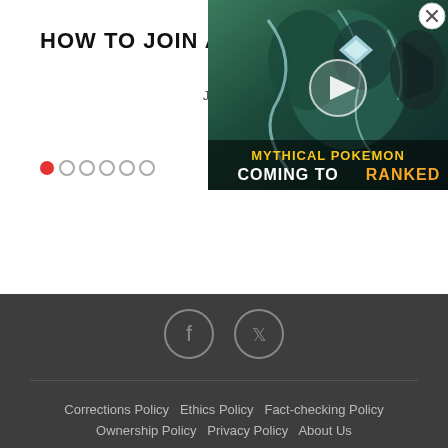HOW TO JOIN A CLAN IN DIABLO IMMORTAL
June 2,
[Figure (screenshot): Video thumbnail showing animated Pokemon character with text 'MYTHICAL POKEMON COMING TO RANKED' with a play button overlay and close (X) button in top right corner]
>
Corrections Policy  Ethics Policy  Fact-checking Policy  Ownership Policy  Privacy Policy  About Us